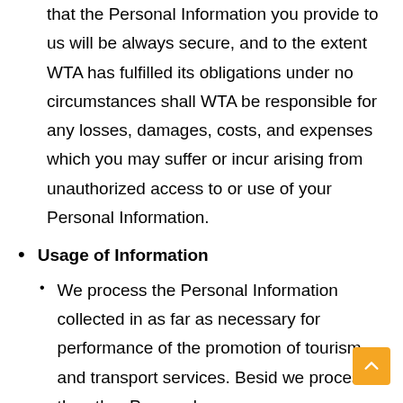that the Personal Information you provide to us will be always secure, and to the extent WTA has fulfilled its obligations under no circumstances shall WTA be responsible for any losses, damages, costs, and expenses which you may suffer or incur arising from unauthorized access to or use of your Personal Information.
Usage of Information
We process the Personal Information collected in as far as necessary for performance of the promotion of tourism and transport services. Besid we process the other Personal